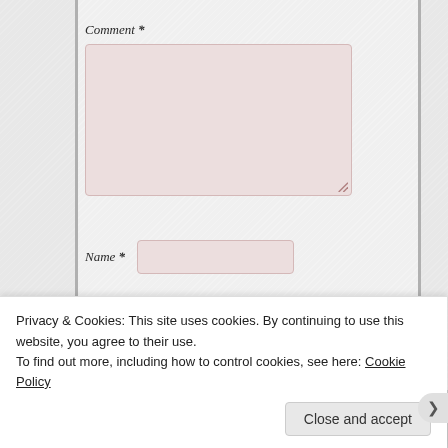[Figure (screenshot): Web form screenshot showing Comment, Name, Email, and Website input fields on a light gray textured background inside a card layout]
Comment *
Name *
Email *
Website
Privacy & Cookies: This site uses cookies. By continuing to use this website, you agree to their use.
To find out more, including how to control cookies, see here: Cookie Policy
Close and accept